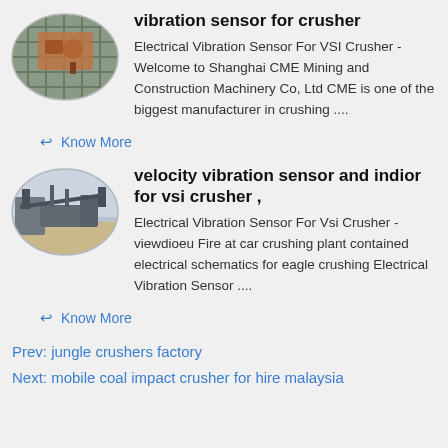[Figure (photo): Oval thumbnail photo of a crusher machine with metal grating, industrial equipment]
vibration sensor for crusher
Electrical Vibration Sensor For VSI Crusher - Welcome to Shanghai CME Mining and Construction Machinery Co, Ltd CME is one of the biggest manufacturer in crushing ....
Know More
[Figure (photo): Oval thumbnail photo of a large crushing plant with conveyor and machinery outdoors]
velocity vibration sensor and indior for vsi crusher ,
Electrical Vibration Sensor For Vsi Crusher - viewdioeu Fire at car crushing plant contained electrical schematics for eagle crushing Electrical Vibration Sensor ....
Know More
Prev: jungle crushers factory
Next: mobile coal impact crusher for hire malaysia